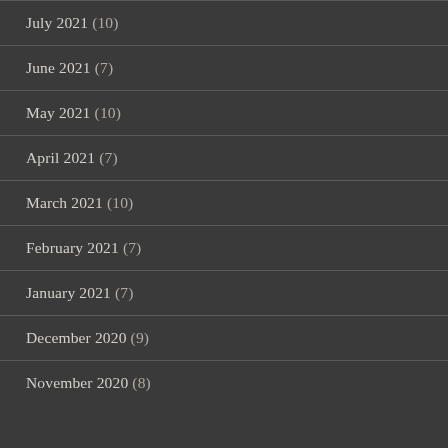July 2021 (10)
June 2021 (7)
May 2021 (10)
April 2021 (7)
March 2021 (10)
February 2021 (7)
January 2021 (7)
December 2020 (9)
November 2020 (8)